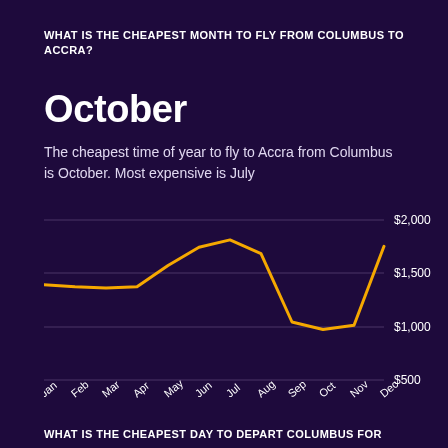WHAT IS THE CHEAPEST MONTH TO FLY FROM COLUMBUS TO ACCRA?
October
The cheapest time of year to fly to Accra from Columbus is October. Most expensive is July
[Figure (line-chart): Monthly flight prices Columbus to Accra]
WHAT IS THE CHEAPEST DAY TO DEPART COLUMBUS FOR